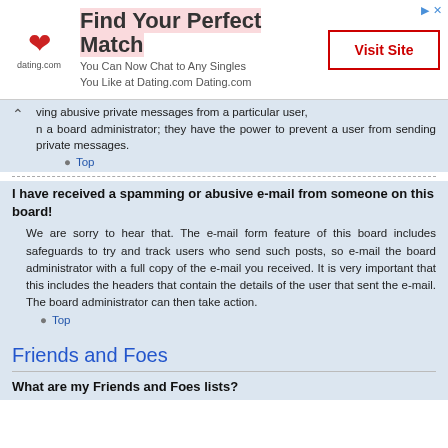[Figure (other): Advertisement banner for dating.com: 'Find Your Perfect Match — You Can Now Chat to Any Singles You Like at Dating.com Dating.com' with a Visit Site button]
…ving abusive private messages from a particular user, …n a board administrator; they have the power to prevent a user from sending private messages.
Top
I have received a spamming or abusive e-mail from someone on this board!
We are sorry to hear that. The e-mail form feature of this board includes safeguards to try and track users who send such posts, so e-mail the board administrator with a full copy of the e-mail you received. It is very important that this includes the headers that contain the details of the user that sent the e-mail. The board administrator can then take action.
Top
Friends and Foes
What are my Friends and Foes lists?